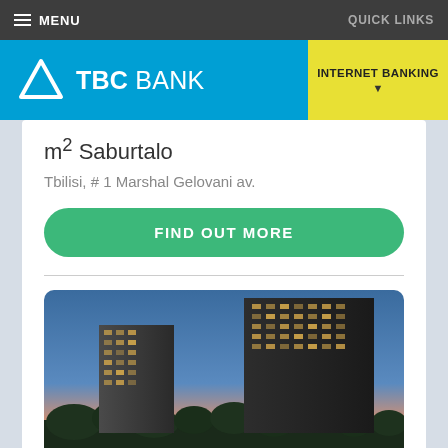MENU   QUICK LINKS
[Figure (logo): TBC Bank logo with triangle icon and blue background, alongside yellow Internet Banking button]
m² Saburtalo
Tbilisi, # 1 Marshal Gelovani av.
FIND OUT MORE
[Figure (photo): High-rise residential apartment buildings at dusk with blue and orange sky background, dark glass facade towers with lit windows, trees in foreground]